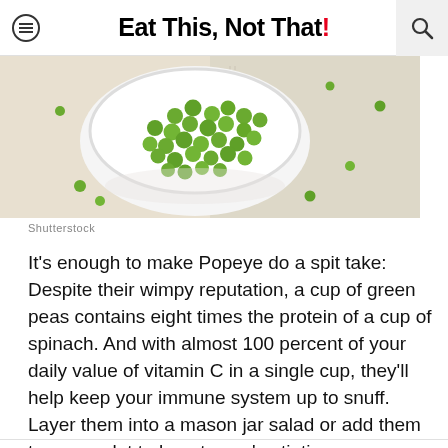Eat This, Not That!
[Figure (photo): A white bowl filled with green peas on a wooden surface with a linen napkin, viewed from above. Several peas scattered around the bowl.]
Shutterstock
It's enough to make Popeye do a spit take: Despite their wimpy reputation, a cup of green peas contains eight times the protein of a cup of spinach. And with almost 100 percent of your daily value of vitamin C in a single cup, they'll help keep your immune system up to snuff. Layer them into a mason jar salad or add them to an omelet to boost eggs' satiating power.